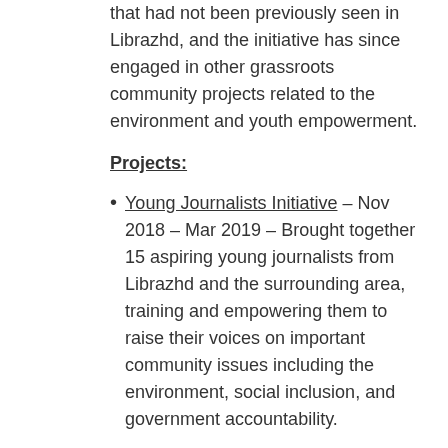that had not been previously seen in Librazhd, and the initiative has since engaged in other grassroots community projects related to the environment and youth empowerment.
Projects:
Young Journalists Initiative – Nov 2018 – Mar 2019 – Brought together 15 aspiring young journalists from Librazhd and the surrounding area, training and empowering them to raise their voices on important community issues including the environment, social inclusion, and government accountability.